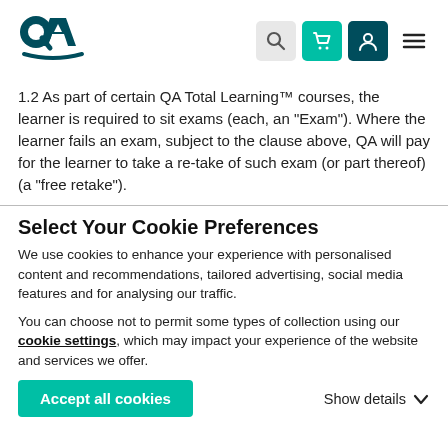QA Logo and navigation icons
1.2 As part of certain QA Total Learning™ courses, the learner is required to sit exams (each, an "Exam"). Where the learner fails an exam, subject to the clause above, QA will pay for the learner to take a re-take of such exam (or part thereof) (a "free retake").
Select Your Cookie Preferences
We use cookies to enhance your experience with personalised content and recommendations, tailored advertising, social media features and for analysing our traffic.
You can choose not to permit some types of collection using our cookie settings, which may impact your experience of the website and services we offer.
Accept all cookies    Show details